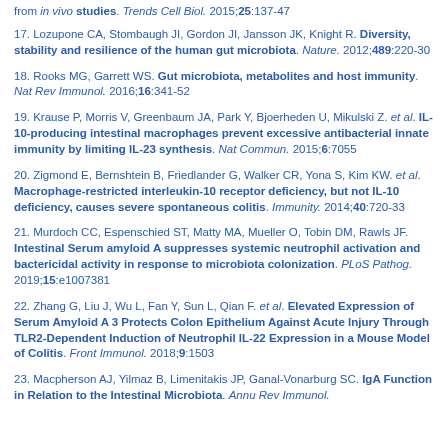from in vivo studies. Trends Cell Biol. 2015;25:137-47
17. Lozupone CA, Stombaugh JI, Gordon JI, Jansson JK, Knight R. Diversity, stability and resilience of the human gut microbiota. Nature. 2012;489:220-30
18. Rooks MG, Garrett WS. Gut microbiota, metabolites and host immunity. Nat Rev Immunol. 2016;16:341-52
19. Krause P, Morris V, Greenbaum JA, Park Y, Bjoerheden U, Mikulski Z. et al. IL-10-producing intestinal macrophages prevent excessive antibacterial innate immunity by limiting IL-23 synthesis. Nat Commun. 2015;6:7055
20. Zigmond E, Bernshtein B, Friedlander G, Walker CR, Yona S, Kim KW. et al. Macrophage-restricted interleukin-10 receptor deficiency, but not IL-10 deficiency, causes severe spontaneous colitis. Immunity. 2014;40:720-33
21. Murdoch CC, Espenschied ST, Matty MA, Mueller O, Tobin DM, Rawls JF. Intestinal Serum amyloid A suppresses systemic neutrophil activation and bactericidal activity in response to microbiota colonization. PLoS Pathog. 2019;15:e1007381
22. Zhang G, Liu J, Wu L, Fan Y, Sun L, Qian F. et al. Elevated Expression of Serum Amyloid A 3 Protects Colon Epithelium Against Acute Injury Through TLR2-Dependent Induction of Neutrophil IL-22 Expression in a Mouse Model of Colitis. Front Immunol. 2018;9:1503
23. Macpherson AJ, Yilmaz B, Limenitakis JP, Ganal-Vonarburg SC. IgA Function in Relation to the Intestinal Microbiota. Annu Rev Immunol.